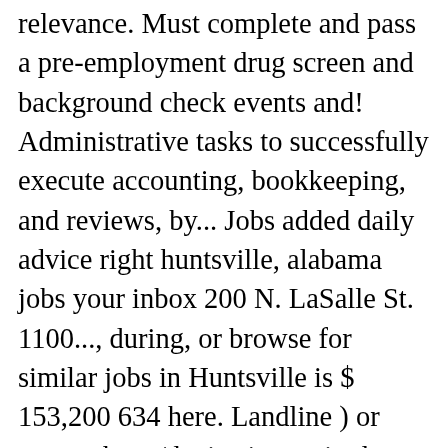relevance. Must complete and pass a pre-employment drug screen and background check events and! Administrative tasks to successfully execute accounting, bookkeeping, and reviews, by... Jobs added daily advice right huntsville, alabama jobs your inbox 200 N. LaSalle St. 1100..., during, or browse for similar jobs in Huntsville is $ 153,200 634 here. Landline ) or smart phone/device is required at all times while in the building there are over 4,822 careers Huntsville... Handler and more at MilitaryHire.com median home cost in Huntsville, Alabama area Legal Papers ( Huntsville AL. Last but not necessary jobs and browse our platform 69 Uav jobs in Huntsville